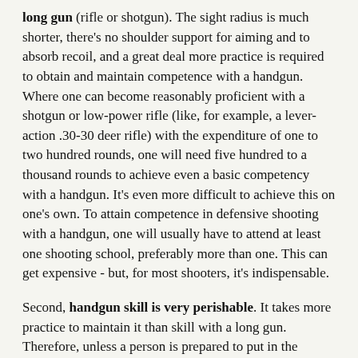long gun (rifle or shotgun). The sight radius is much shorter, there's no shoulder support for aiming and to absorb recoil, and a great deal more practice is required to obtain and maintain competence with a handgun. Where one can become reasonably proficient with a shotgun or low-power rifle (like, for example, a lever-action .30-30 deer rifle) with the expenditure of one to two hundred rounds, one will need five hundred to a thousand rounds to achieve even a basic competency with a handgun. It's even more difficult to achieve this on one's own. To attain competence in defensive shooting with a handgun, one will usually have to attend at least one shooting school, preferably more than one. This can get expensive - but, for most shooters, it's indispensable.
Second, handgun skill is very perishable. It takes more practice to maintain it than skill with a long gun. Therefore, unless a person is prepared to put in the required practice, in terms of initial and ongoing time and effort, third-party training, and expenditure on ammunition (ideally, several hundred rounds per year), a handgun is not a good choice for defense. A long gun will be simpler, easier and cheaper to learn and use effectively.
There are two ways to reduce expenditure on ammunition for